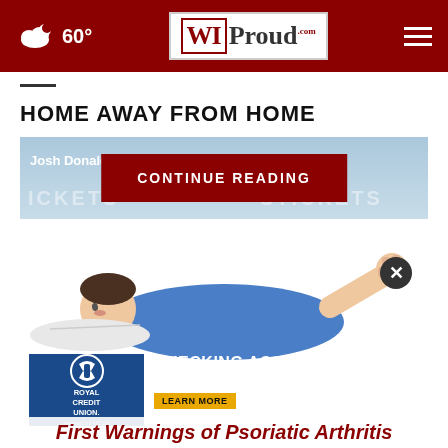60° WIProud.com
HOME AWAY FROM HOME
[Figure (screenshot): Article card for Josh Donaldson's story with a 'CONTINUE READING' button overlay on a blue-toned background with TICKETS text watermark]
[Figure (illustration): Illustration of a person in a blue shirt lying down and stretching, associated with Psoriatic Arthritis content]
[Figure (infographic): Royal Credit Union advertisement banner: 'CHECKING ACCOUNTS THAT GO THE DISTANCE' with LEARN MORE CTA button]
First Warnings of Psoriatic Arthritis